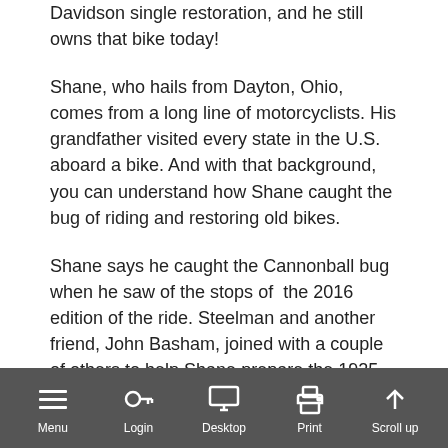...Davidson single restoration, and he still owns that bike today!
Shane, who hails from Dayton, Ohio, comes from a long line of motorcyclists. His grandfather visited every state in the U.S. aboard a bike. And with that background, you can understand how Shane caught the bug of riding and restoring old bikes.
Shane says he caught the Cannonball bug when he saw of the stops of the 2016 edition of the ride. Steelman and another friend, John Basham, joined with a couple of others to help Shane prepare the 1925 Indian Big Chief he’s riding.
So far Shane has a perfect score after Stage 4, in spite of a rear brake failure on the second day of the run.
Menu | Login | Desktop | Print | Scroll up